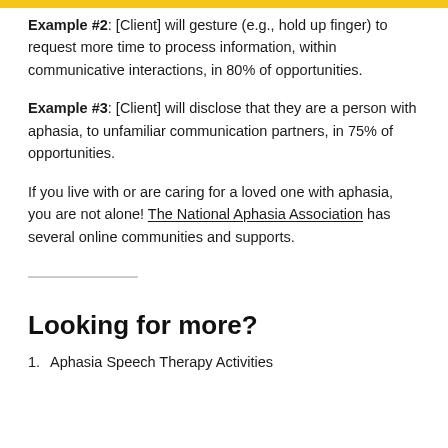Example #2: [Client] will gesture (e.g., hold up finger) to request more time to process information, within communicative interactions, in 80% of opportunities.
Example #3: [Client] will disclose that they are a person with aphasia, to unfamiliar communication partners, in 75% of opportunities.
If you live with or are caring for a loved one with aphasia, you are not alone! The National Aphasia Association has several online communities and supports.
Looking for more?
1. Aphasia Speech Therapy Activities